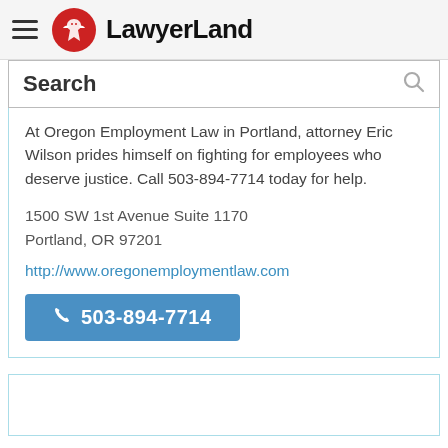LawyerLand
Search
At Oregon Employment Law in Portland, attorney Eric Wilson prides himself on fighting for employees who deserve justice. Call 503-894-7714 today for help.
1500 SW 1st Avenue Suite 1170
Portland, OR 97201
http://www.oregonemploymentlaw.com
503-894-7714